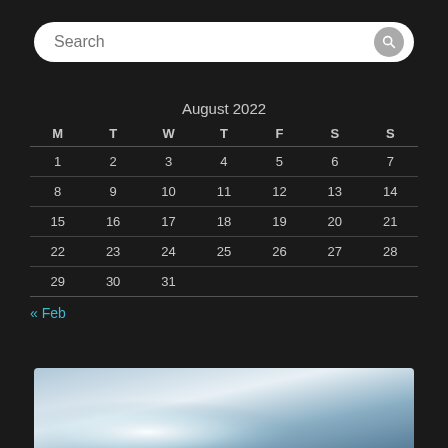[Figure (screenshot): Search bar with placeholder text 'Search' and a search icon button on a dark background]
| M | T | W | T | F | S | S |
| --- | --- | --- | --- | --- | --- | --- |
| 1 | 2 | 3 | 4 | 5 | 6 | 7 |
| 8 | 9 | 10 | 11 | 12 | 13 | 14 |
| 15 | 16 | 17 | 18 | 19 | 20 | 21 |
| 22 | 23 | 24 | 25 | 26 | 27 | 28 |
| 29 | 30 | 31 |  |  |  |  |
« Feb
[Figure (photo): Partial photo showing a bright light source against a blue-grey sky gradient]